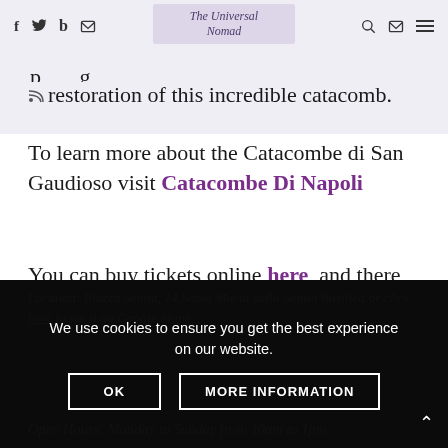f  [twitter]  b  [mail]  |  The Universal Nomad  |  [search] [mail] [menu]
restoration of this incredible catacomb.
To learn more about the Catacombe di San Gaudioso visit Catacombe Di Napoli
You can buy tickets online here, and there are guided walking tours every hour.
Location: Piazza Sanità, 14 Santa Maria della Sanità Basilica or click here to see it on Google Maps
Open Hours: Monday to Sunday from 10am to 1pm
We use cookies to ensure you get the best experience on our website.
OK    MORE INFORMATION